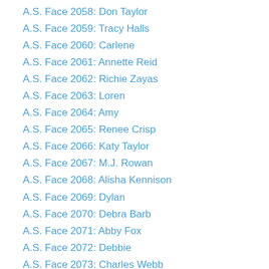A.S. Face 2058: Don Taylor
A.S. Face 2059: Tracy Halls
A.S. Face 2060: Carlene
A.S. Face 2061: Annette Reid
A.S. Face 2062: Richie Zayas
A.S. Face 2063: Loren
A.S. Face 2064: Amy
A.S. Face 2065: Renee Crisp
A.S. Face 2066: Katy Taylor
A.S. Face 2067: M.J. Rowan
A.S. Face 2068: Alisha Kennison
A.S. Face 2069: Dylan
A.S. Face 2070: Debra Barb
A.S. Face 2071: Abby Fox
A.S. Face 2072: Debbie
A.S. Face 2073: Charles Webb
A.S. Face 2074: Sherry Webb Nicosia
A.S. Face 2075: Annie Derrick
A.S. Face 2076: Ashley Clark
A.S. Face 2077: April Estes